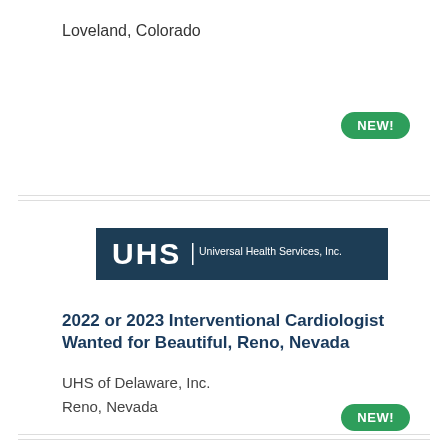Loveland, Colorado
[Figure (logo): UHS Universal Health Services, Inc. logo — dark teal background with white text]
2022 or 2023 Interventional Cardiologist Wanted for Beautiful, Reno, Nevada
UHS of Delaware, Inc.
Reno, Nevada